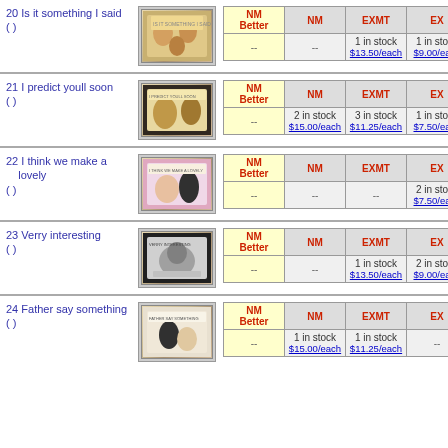| # | Title | Image | NM Better | NM | EXMT | EX |
| --- | --- | --- | --- | --- | --- | --- |
| 20 | Is it something I said
() | [image] | -- | -- | 1 in stock $13.50/each | 1 in stock $9.00/each |
| 21 | I predict youll soon
() | [image] | -- | 2 in stock $15.00/each | 3 in stock $11.25/each | 1 in stock $7.50/each |
| 22 | I think we make a lovely
() | [image] | -- | -- | -- | 2 in stock $7.50/each |
| 23 | Verry interesting
() | [image] | -- | -- | 1 in stock $13.50/each | 2 in stock $9.00/each |
| 24 | Father say something
() | [image] | -- | 1 in stock $15.00/each | 1 in stock $11.25/each | -- |